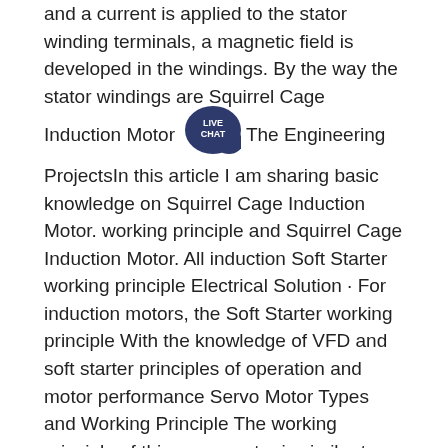and a current is applied to the stator winding terminals, a magnetic field is developed in the windings. By the way the stator windings are Squirrel Cage Induction Motor. The Engineering ProjectsIn this article I am sharing basic knowledge on Squirrel Cage Induction Motor. working principle and Squirrel Cage Induction Motor. All induction Soft Starter working principle Electrical Solution · For induction motors, the Soft Starter working principle With the knowledge of VFD and soft starter principles of operation and motor performance Servo Motor Types and Working Principle The working principle of this servo motor is similar to the normal induction motor. Again the controller must know the exact position of the rotor using encoder for precise speed and position control. Basic Soft Starter Principles The Principles of Fixed Basic Soft Starter Principles The Principles of Fixed Speed Induction Motor Control Since its invention one hundred years ago, the standard 3 phase induction motor has become one of the most familiar items of industrial